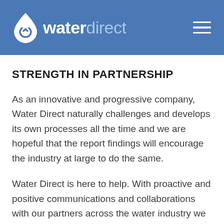waterdirect
STRENGTH IN PARTNERSHIP
As an innovative and progressive company, Water Direct naturally challenges and develops its own processes all the time and we are hopeful that the report findings will encourage the industry at large to do the same.
Water Direct is here to help. With proactive and positive communications and collaborations with our partners across the water industry we can create the resilience we need to deliver